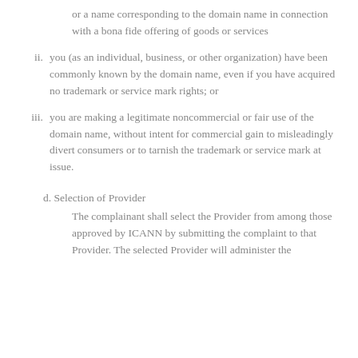or a name corresponding to the domain name in connection with a bona fide offering of goods or services
ii. you (as an individual, business, or other organization) have been commonly known by the domain name, even if you have acquired no trademark or service mark rights; or
iii. you are making a legitimate noncommercial or fair use of the domain name, without intent for commercial gain to misleadingly divert consumers or to tarnish the trademark or service mark at issue.
d. Selection of Provider
The complainant shall select the Provider from among those approved by ICANN by submitting the complaint to that Provider. The selected Provider will administer the